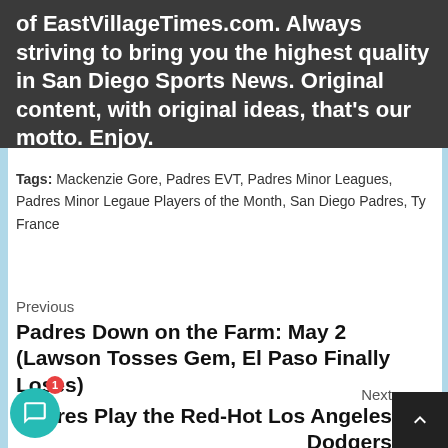of EastVillageTimes.com. Always striving to bring you the highest quality in San Diego Sports News. Original content, with original ideas, that's our motto. Enjoy.
Tags: Mackenzie Gore, Padres EVT, Padres Minor Leagues, Padres Minor Legaue Players of the Month, San Diego Padres, Ty France
Previous
Padres Down on the Farm: May 2 (Lawson Tosses Gem, El Paso Finally Loses)
Next
Padres Play the Red-Hot Los Angeles Dodgers